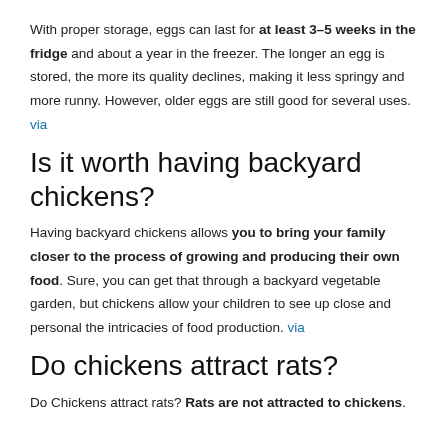With proper storage, eggs can last for at least 3–5 weeks in the fridge and about a year in the freezer. The longer an egg is stored, the more its quality declines, making it less springy and more runny. However, older eggs are still good for several uses. via
Is it worth having backyard chickens?
Having backyard chickens allows you to bring your family closer to the process of growing and producing their own food. Sure, you can get that through a backyard vegetable garden, but chickens allow your children to see up close and personal the intricacies of food production. via
Do chickens attract rats?
Do Chickens attract rats? Rats are not attracted to chickens.